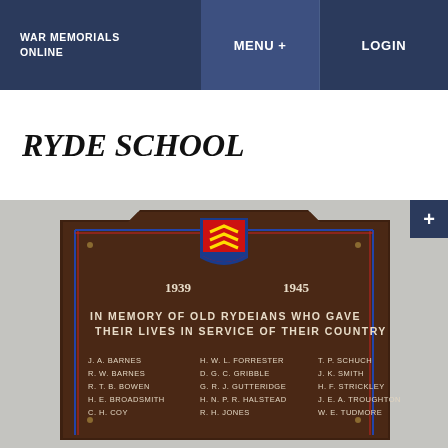WAR MEMORIALS ONLINE | MENU + | LOGIN
RYDE SCHOOL
[Figure (photo): A bronze memorial plaque for Ryde School, dated 1939-1945. The plaque features a school crest at the top center with red and yellow chevrons on blue, flanked by blue and red border lines. Text reads: 'IN MEMORY OF OLD RYDEIANS WHO GAVE THEIR LIVES IN SERVICE OF THEIR COUNTRY'. Names listed include J.A. BARNES, R.W. BARNES, R.T.B. BOWEN, H.E. BROADSMITH, C.H. COY in left column; H.W.L. FORRESTER, D.G.C. GRIBBLE, G.R.J. GUTTERIDGE, H.N.P.R. HALSTEAD, R.H. JONES in center column; T.P. SCHUCH, J.K. SMITH, H.F. STRICKLEY, J.E.A. TROUGHTON, W.E. TUDMORE in right column.]